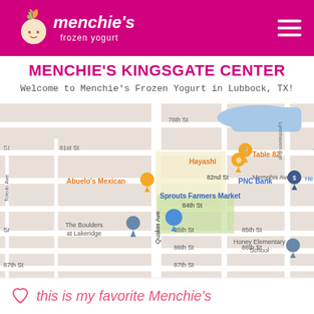Menchie's Frozen Yogurt
MENCHIE'S KINGSGATE CENTER
Welcome to Menchie's Frozen Yogurt in Lubbock, TX!
[Figure (map): Google Maps view of Menchie's Kingsgate Center area in Lubbock TX, showing streets including 78th St, 81st St, 82nd St, 84th St, 85th St, 86th St, 87th St, Quaker Ave, Memphis Ave, Lynnhaven Ave and nearby places including Hayashi, Table 82, Abuelo's Mexican, Sprouts Farmers Market, PNC Bank, The Boulders at Lakeridge, Honey Elementary School with map pins]
this is my favorite Menchie's